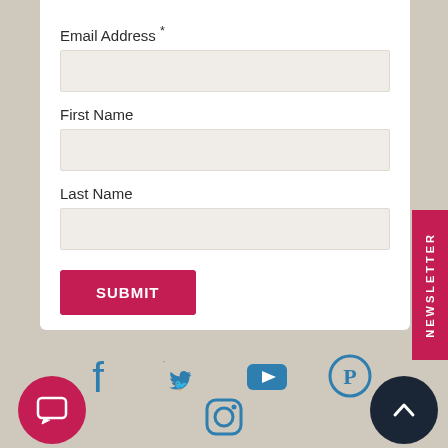Email Address *
First Name
Last Name
SUBMIT
NEWSLETTER
[Figure (illustration): Social media icons row: Facebook, Twitter, YouTube, Pinterest; Instagram icon below center; red chat bubble button bottom left; dark navy scroll-to-top arrow button bottom right]